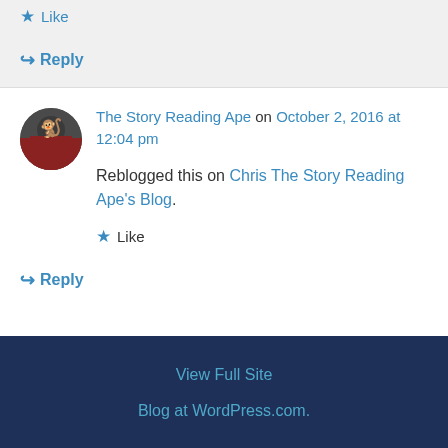★ Like
↪ Reply
The Story Reading Ape on October 2, 2016 at 12:04 pm
Reblogged this on Chris The Story Reading Ape's Blog.
★ Like
↪ Reply
View Full Site
Blog at WordPress.com.